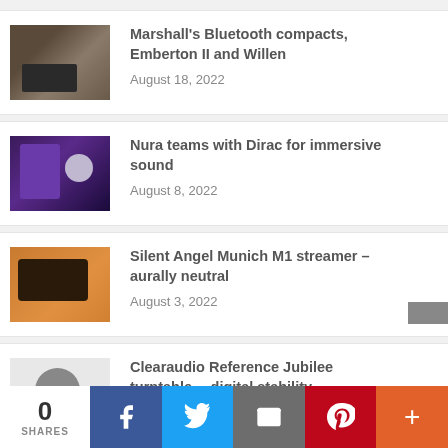Marshall's Bluetooth compacts, Emberton II and Willen
August 18, 2022
Nura teams with Dirac for immersive sound
August 8, 2022
Silent Angel Munich M1 streamer – aurally neutral
August 3, 2022
Clearaudio Reference Jubilee turntable… digital stability
August 1, 2022
0 SHARES
[Figure (infographic): Social share bar with Facebook, Twitter, Email, Pinterest, and More buttons]